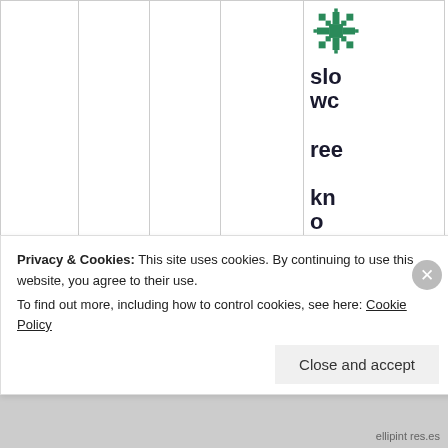[Figure (logo): Green decorative snowflake/geometric pattern logo]
slo
wc
ree
kn
o
09/02/2021 @ 03:16 at
Privacy & Cookies: This site uses cookies. By continuing to use this website, you agree to their use.
To find out more, including how to control cookies, see here: Cookie Policy
Close and accept